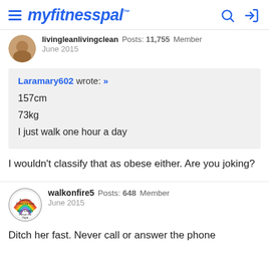myfitnesspal
livingleanlivingclean  Posts: 11,755  Member
June 2015
Laramary602 wrote: »
157cm
73kg
I just walk one hour a day
I wouldn't classify that as obese either. Are you joking?
walkonfire5  Posts: 648  Member
June 2015
Ditch her fast. Never call or answer the phone